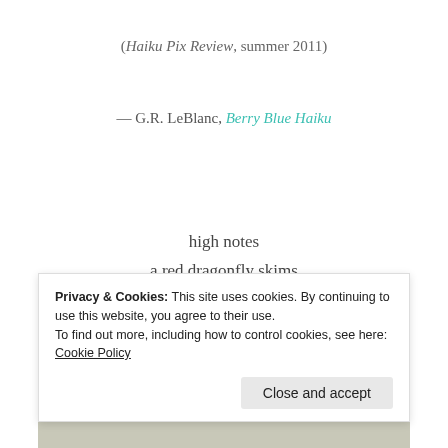(Haiku Pix Review, summer 2011)
— G.R. LeBlanc, Berry Blue Haiku
high notes
a red dragonfly skims
across the sound
— Margaret Dornaus,
Privacy & Cookies: This site uses cookies. By continuing to use this website, you agree to their use.
To find out more, including how to control cookies, see here: Cookie Policy
Close and accept